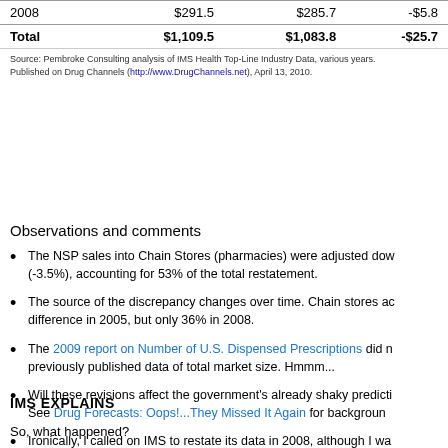|  |  |  |  |
| --- | --- | --- | --- |
| 2008 | $291.5 | $285.7 | -$5.8 |
| Total | $1,109.5 | $1,083.8 | -$25.7 |
Source: Pembroke Consulting analysis of IMS Health Top-Line Industry Data, various years. Published on Drug Channels (http://www.DrugChannels.net), April 13, 2010.
Observations and comments
The NSP sales into Chain Stores (pharmacies) were adjusted down (-3.5%), accounting for 53% of the total restatement.
The source of the discrepancy changes over time. Chain stores accounted for the difference in 2005, but only 36% in 2008.
The 2009 report on Number of U.S. Dispensed Prescriptions did not reconcile previously published data of total market size. Hmmm...
Will these revisions affect the government's already shaky predictions? See Drug Forecasts: Oops!...They Missed It Again for background.
Ironically, I called on IMS to restate its data in 2008, although I was referring to allocation among channels, not total market size. See IMS Recounts, but Inc
IMS EXPLAINS
So, what happened?